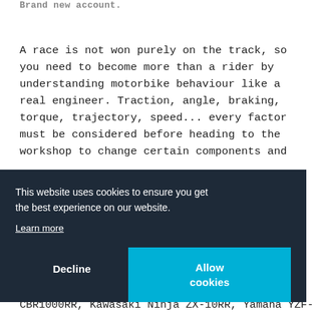Brand new account.
A race is not won purely on the track, so you need to become more than a rider by understanding motorbike behaviour like a real engineer. Traction, angle, braking, torque, trajectory, speed... every factor must be considered before heading to the workshop to change certain components and
This website uses cookies to ensure you get the best experience on our website.
Learn more
Decline
Allow cookies
s 8
nda CBR1000RR, Kawasaki Ninja ZX-10RR, Yamaha YZF-